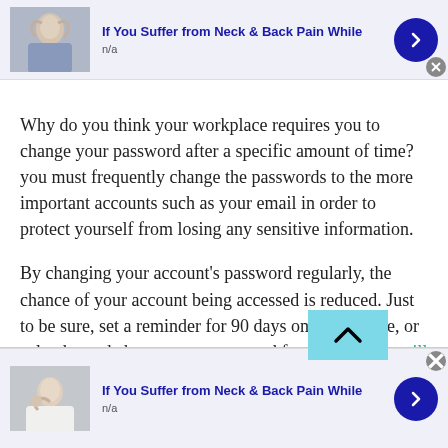[Figure (screenshot): Top advertisement banner: image of elderly man with neck pain, title 'If You Suffer from Neck & Back Pain While', subtitle 'n/a', blue arrow button, close button]
Why do you think your workplace requires you to change your password after a specific amount of time? you must frequently change the passwords to the more important accounts such as your email in order to protect yourself from losing any sensitive information.
By changing your account's password regularly, the chance of your account being accessed is reduced. Just to be sure, set a reminder for 90 days on your phone, or calendar and change your password frequently. This will
[Figure (screenshot): Bottom advertisement banner: image of person with neck/shoulder pain, title 'If You Suffer from Neck & Back Pain While', subtitle 'n/a', blue arrow button, close button]